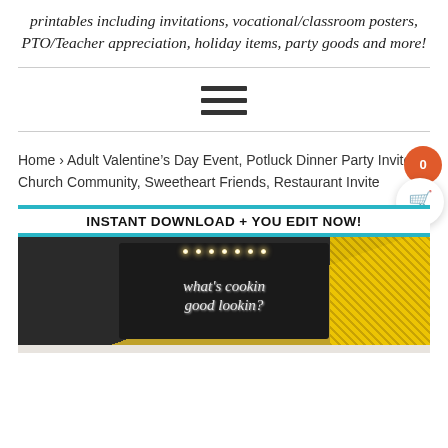printables including invitations, vocational/classroom posters, PTO/Teacher appreciation, holiday items, party goods and more!
[Figure (other): Hamburger menu icon with three horizontal lines]
Home › Adult Valentine's Day Event, Potluck Dinner Party Invite Church Community, Sweetheart Friends, Restaurant Invite
[Figure (photo): Product photo showing a chalkboard-style invitation with text 'what's cookin good lookin?' with string lights, and a gold glitter panel. Banner reads 'INSTANT DOWNLOAD + YOU EDIT NOW!']